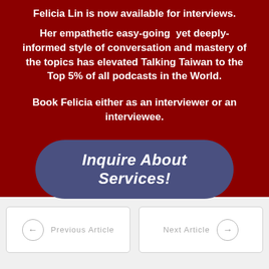Felicia Lin is now available for interviews.
Her empathetic easy-going  yet deeply-informed style of conversation and mastery of the topics has elevated Talking Taiwan to the Top 5% of all podcasts in the World.
Book Felicia either as an interviewer or an interviewee.
Inquire About Services!
← Previous Article    Next Article →